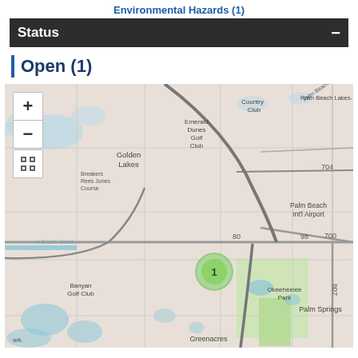Environmental Hazards (1)
Status
Open (1)
[Figure (map): Interactive street map centered on Palm Beach County, Florida area showing neighborhoods including Golden Lakes, Emerald Dunes Golf Club, Palm Beach Int'l Airport, Banyan Golf Club, Okeeheelee Park, Greenacres, and Palm Springs. A green cluster marker labeled '1' is positioned south of road 80/98 intersection. Map controls (zoom in/out, fullscreen) visible in upper left.]